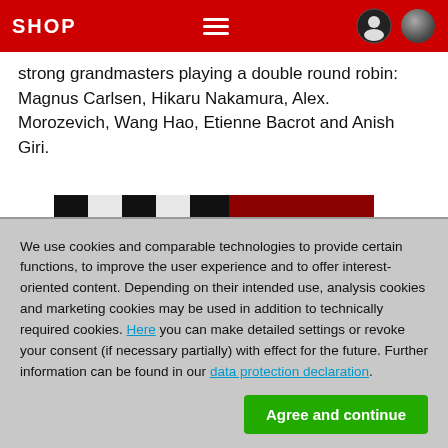SHOP
strong grandmasters playing a double round robin: Magnus Carlsen, Hikaru Nakamura, Alex. Morozevich, Wang Hao, Etienne Bacrot and Anish Giri.
[Figure (illustration): Chess book cover with a checkered black-and-white chess board pattern on the left half and a dark red color on the right half, with a red strip along the bottom]
We use cookies and comparable technologies to provide certain functions, to improve the user experience and to offer interest-oriented content. Depending on their intended use, analysis cookies and marketing cookies may be used in addition to technically required cookies. Here you can make detailed settings or revoke your consent (if necessary partially) with effect for the future. Further information can be found in our data protection declaration.